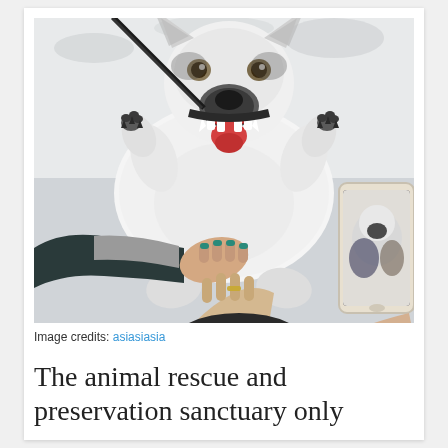[Figure (photo): A happy husky dog lying on its back in the snow, mouth open and tongue out. A person with teal-painted fingernails is petting the dog's belly with one hand, and another person is holding the dog's paw. A smartphone on the right side is displaying a photo of the same dog.]
Image credits: asiasiasia
The animal rescue and preservation sanctuary only